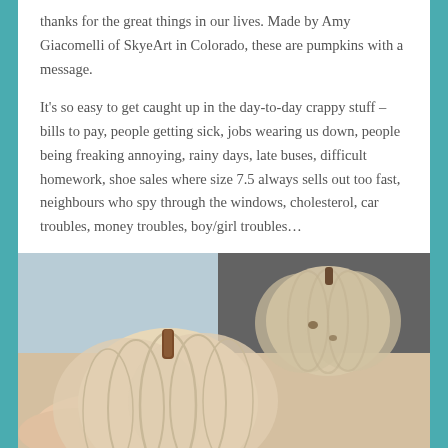thanks for the great things in our lives. Made by Amy Giacomelli of SkyeArt in Colorado, these are pumpkins with a message.
It's so easy to get caught up in the day-to-day crappy stuff – bills to pay, people getting sick, jobs wearing us down, people being freaking annoying, rainy days, late buses, difficult homework, shoe sales where size 7.5 always sells out too fast, neighbours who spy through the windows, cholesterol, car troubles, money troubles, boy/girl troubles…
[Figure (photo): Close-up photo of small wooden pumpkins being held in a hand, with a darker pumpkin in the background against a grey-blue backdrop]